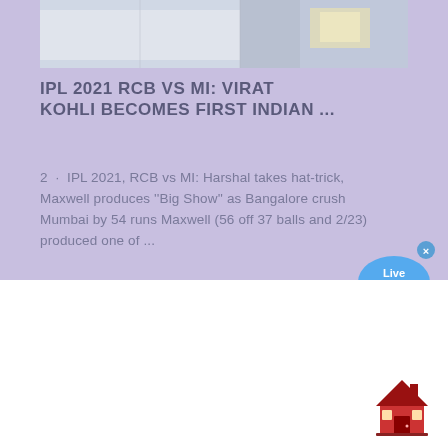[Figure (photo): Partial screenshot/photo of a room or interior, cropped at top, with light blue and white tones]
IPL 2021 RCB VS MI: VIRAT KOHLI BECOMES FIRST INDIAN ...
2  ·  IPL 2021, RCB vs MI: Harshal takes hat-trick, Maxwell produces ''Big Show'' as Bangalore crush Mumbai by 54 runs Maxwell (56 off 37 balls and 2/23) produced one of ...
[Figure (illustration): Live Chat speech bubble widget with blue background and a close (x) button]
[Figure (illustration): House/home icon emoji in red and dark red colors at bottom right]